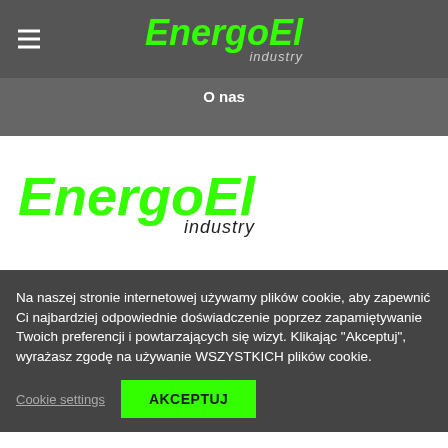[Figure (logo): EnergoEl industry logo in navigation bar — green italic bold 'EnergoEl' with dark 'industry' subtitle]
O nas
[Figure (logo): EnergoEl industry logo large in white content area — green italic bold 'EnergoEl' with dark 'industry' subtitle]
Na naszej stronie internetowej używamy plików cookie, aby zapewnić Ci najbardziej odpowiednie doświadczenie poprzez zapamiętywanie Twoich preferencji i powtarzających się wizyt. Klikając "Akceptuj", wyrażasz zgodę na używanie WSZYSTKICH plików cookie.